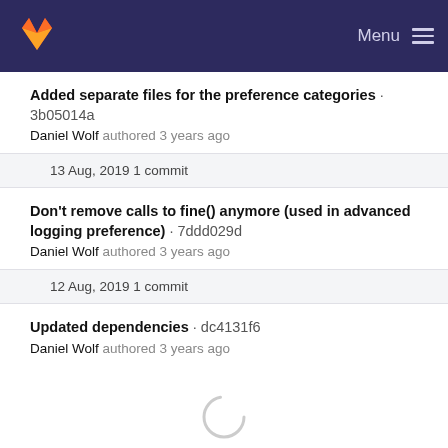GitLab — Menu
Added separate files for the preference categories · 3b05014a
Daniel Wolf authored 3 years ago
13 Aug, 2019 1 commit
Don't remove calls to fine() anymore (used in advanced logging preference) · 7ddd029d
Daniel Wolf authored 3 years ago
12 Aug, 2019 1 commit
Updated dependencies · dc4131f6
Daniel Wolf authored 3 years ago
[Figure (other): Loading spinner (partial circle arc indicating content loading)]